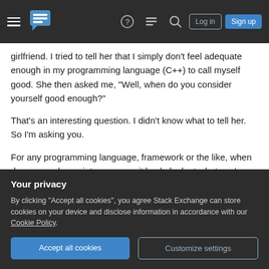Stack Exchange navigation bar with hamburger menu, logo, help, chat, search icons, Log in and Sign up buttons
girlfriend. I tried to tell her that I simply don't feel adequate enough in my programming language (C++) to call myself good. She then asked me, "Well, when do you consider yourself good enough?"
That's an interesting question. I didn't know what to tell her. So I'm asking you.
For any programming language, framework or the like, when do you reach a point were you sit back, look at what you've done and say, "Hey, I'm actually pretty good at this."? How do you define "good" so
Your privacy
By clicking "Accept all cookies", you agree Stack Exchange can store cookies on your device and disclose information in accordance with our Cookie Policy.
Accept all cookies
Customize settings
Additional Info